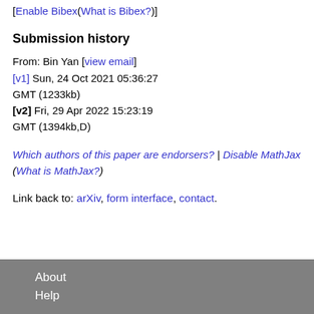[Enable Bibex(What is Bibex?)]
Submission history
From: Bin Yan [view email]
[v1] Sun, 24 Oct 2021 05:36:27 GMT (1233kb)
[v2] Fri, 29 Apr 2022 15:23:19 GMT (1394kb,D)
Which authors of this paper are endorsers? | Disable MathJax (What is MathJax?)
Link back to: arXiv, form interface, contact.
About
Help